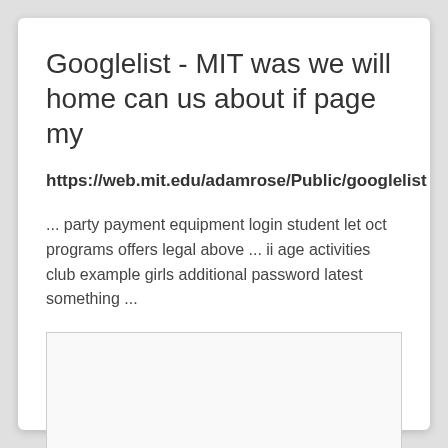Googlelist - MIT was we will home can us about if page my
https://web.mit.edu/adamrose/Public/googlelist
... party payment equipment login student let oct programs offers legal above ... ii age activities club example girls additional password latest something ...
[Figure (other): Empty white image box with light border]